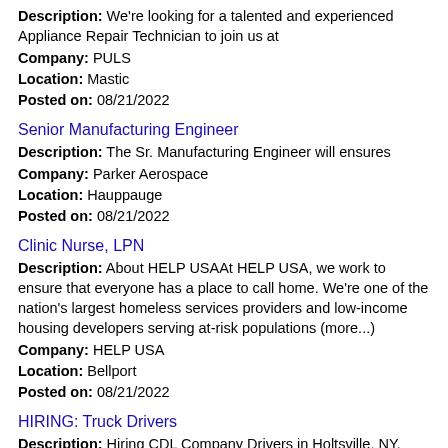Description: We're looking for a talented and experienced Appliance Repair Technician to join us at
Company: PULS
Location: Mastic
Posted on: 08/21/2022
Senior Manufacturing Engineer
Description: The Sr. Manufacturing Engineer will ensures
Company: Parker Aerospace
Location: Hauppauge
Posted on: 08/21/2022
Clinic Nurse, LPN
Description: About HELP USAAt HELP USA, we work to ensure that everyone has a place to call home. We're one of the nation's largest homeless services providers and low-income housing developers serving at-risk populations (more...)
Company: HELP USA
Location: Bellport
Posted on: 08/21/2022
HIRING: Truck Drivers
Description: Hiring CDL Company Drivers in Holtsville, NY. Apply once and choose a trucking job that works for you. Get home